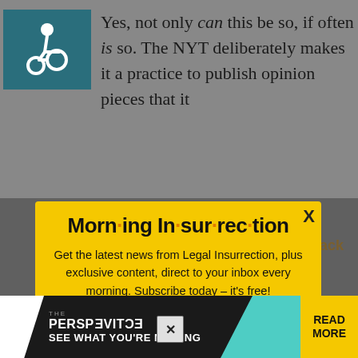Yes, not only can this be so, if often is so. The NYT deliberately makes it a practice to publish opinion pieces that it
[Figure (screenshot): Morning Insurrection newsletter popup modal with yellow background, bold title 'Morn·ing In·sur·rec·tion', body text about subscribing, and orange JOIN NOW button]
work for paper, and have nothing to do with it, so they
of the people at the paper,
[Figure (infographic): The Perspective advertisement banner at bottom with teal section and READ MORE button, SEE WHAT YOU'RE MISSING text]